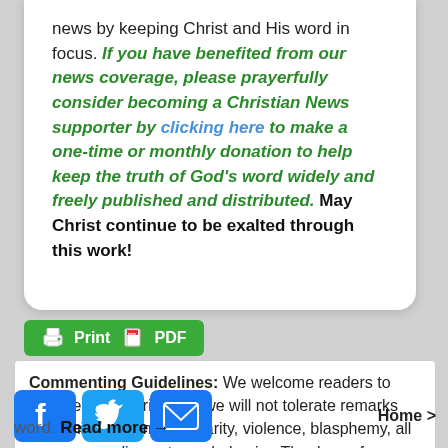news by keeping Christ and His word in focus. If you have benefited from our news coverage, please prayerfully consider becoming a Christian News supporter by clicking here to make a one-time or monthly donation to help keep the truth of God's word widely and freely published and distributed. May Christ continue to be exalted through this work!
[Figure (other): Green Print and PDF button with printer and document icons]
Commenting Guidelines: We welcome readers to comment on stories, but we will not tolerate remarks containing profanity, vulgarity, violence, blasphemy, all caps or any discourteous behavior. Thank you for your cooperation in maintaining a respectful public
[Figure (other): Social sharing buttons: Facebook (blue f icon), Twitter (blue bird icon), Email (blue envelope icon), and Home > navigation link]
word. Read more →